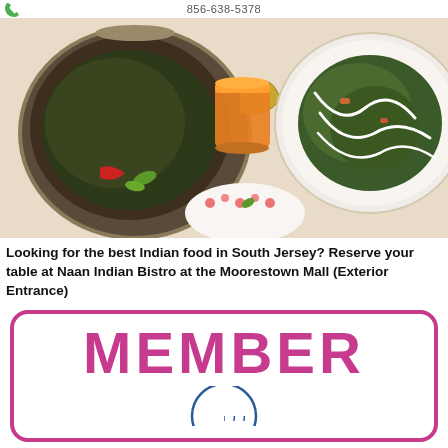856-638-5378
[Figure (photo): Overhead photo of Indian food dishes: a dark curry in a metal bowl, a small glass of orange sauce, and a plate with green leafy dish topped with white cream drizzle on a white background with floral decoration]
Looking for the best Indian food in South Jersey? Reserve your table at Naan Indian Bistro at the Moorestown Mall (Exterior Entrance)
[Figure (logo): MEMBER text in large pink/magenta bold letters inside a rounded pink border rectangle, with a circular blue wheat sheaf logo partially visible at the bottom]